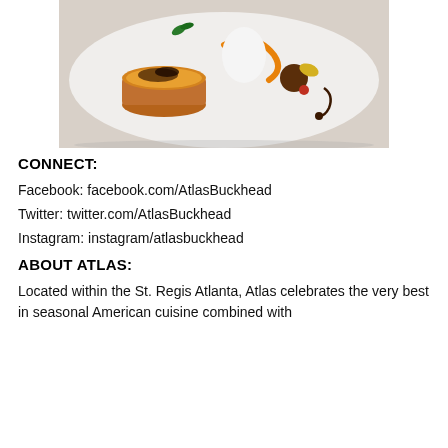[Figure (photo): A plated dessert on a white plate featuring a crème brûlée in a terracotta-style ramekin with caramelized top, accompanied by various garnishes including a white egg-shaped element, orange peel curl, chocolate decorations, and other components arranged artfully.]
CONNECT:
Facebook: facebook.com/AtlasBuckhead
Twitter: twitter.com/AtlasBuckhead
Instagram: instagram/atlasbuckhead
ABOUT ATLAS:
Located within the St. Regis Atlanta, Atlas celebrates the very best in seasonal American cuisine combined with